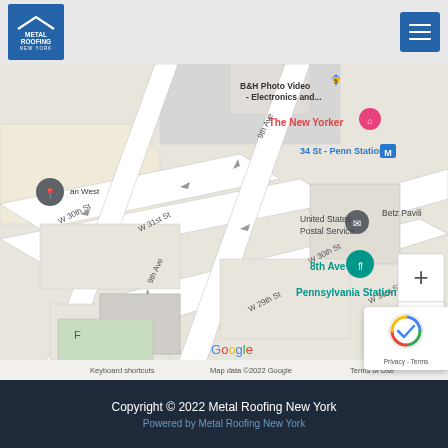[Figure (logo): Metal Roofing New York logo — blue square with house/roof icon and text]
[Figure (other): Hamburger menu button — blue square with three white horizontal lines]
[Figure (map): Google Maps screenshot showing Penn Station area in Manhattan, New York. Shows streets W 30th St, W 31st St, W 29th St, 9th Ave, 8th Ave. Labels include: B&H Photo Video - Electronics and..., The New Yorker (hotel, pink), 34 St - Penn Station (M), United States Postal Service, Betz Pavili, 8th Ave (teal pin), Pennsylvania Station, Manhattan West. Map controls: + and - zoom buttons. Bottom: Keyboard shortcuts, Map data ©2022 Google, Terms of Use. Google logo visible.]
Copyright © 2022 Metal Roofing New York
Powered by Metal Roofing New York